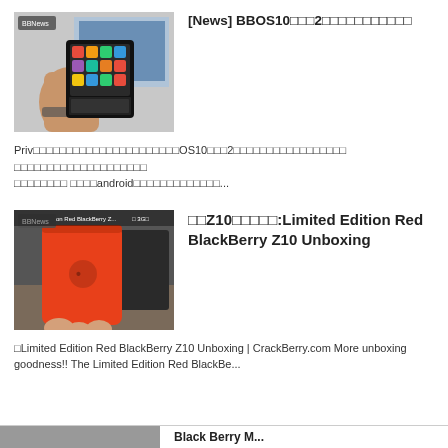[Figure (photo): Hand holding a BlackBerry Passport smartphone with colorful icons on screen, BBNews badge overlay]
[News] BBOS10□□□2□□□□□□□□□□□□□
Priv□□□□□□□□□□□□□□□□□□□□□□□□□□□OS10□□□2□□□□□□□□□□□□□□□□□□□ □□□□□□□□□□□□□□□□□□□ □□□□android□□□□□□□□□□□□□□□...
[Figure (photo): Hand holding a red BlackBerry Z10 smartphone showing the back, BBNews badge overlay]
□□Z10□□□□□□:Limited Edition Red BlackBerry Z10 Unboxing
■Limited Edition Red BlackBerry Z10 Unboxing | CrackBerry.com More unboxing goodness!! The Limited Edition Red BlackBe...